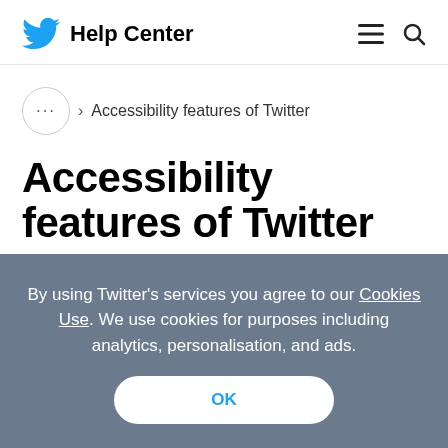Twitter Help Center
... > Accessibility features of Twitter
Accessibility features of Twitter
By using Twitter’s services you agree to our Cookies Use. We use cookies for purposes including analytics, personalisation, and ads. OK